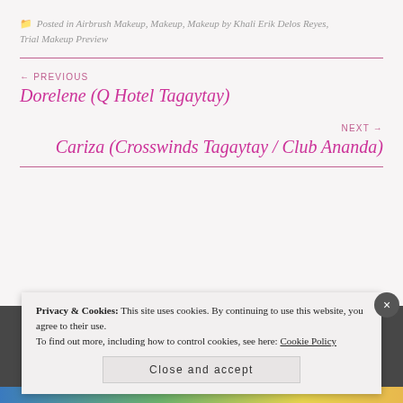Posted in Airbrush Makeup, Makeup, Makeup by Khali Erik Delos Reyes, Trial Makeup Preview
← PREVIOUS
Dorelene (Q Hotel Tagaytay)
NEXT →
Cariza (Crosswinds Tagaytay / Club Ananda)
Privacy & Cookies: This site uses cookies. By continuing to use this website, you agree to their use.
To find out more, including how to control cookies, see here: Cookie Policy
Close and accept